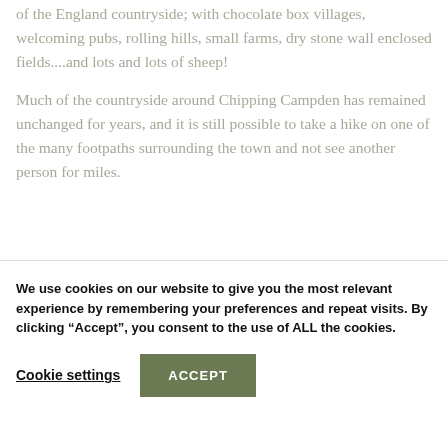of the England countryside; with chocolate box villages, welcoming pubs, rolling hills, small farms, dry stone wall enclosed fields....and lots and lots of sheep!
Much of the countryside around Chipping Campden has remained unchanged for years, and it is still possible to take a hike on one of the many footpaths surrounding the town and not see another person for miles.
We use cookies on our website to give you the most relevant experience by remembering your preferences and repeat visits. By clicking “Accept”, you consent to the use of ALL the cookies.
Cookie settings
ACCEPT